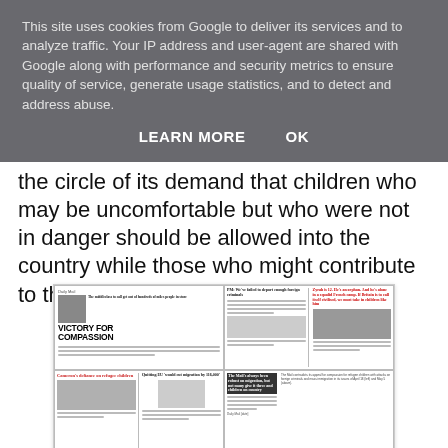This site uses cookies from Google to deliver its services and to analyze traffic. Your IP address and user-agent are shared with Google along with performance and security metrics to ensure quality of service, generate usage statistics, and to detect and address abuse.
LEARN MORE   OK
the circle of its demand that children who may be uncomfortable but who were not in danger should be allowed into the country while those who might contribute to the economy should not.
[Figure (photo): Collage of Daily Mail newspaper front pages showing headlines: 'VICTORY FOR COMPASSION', 'PM: We've failed to deport enough foreign criminals', 'Zyrah is 12. He's an orphan. And he's alone in a squalid French camp. If Britain is to call itself civilised, we must take in children like him', 'Cameron's defiance on refugee children', 'Quitting EU would cut migration by 116,000', and a column block. Bottom right includes a caption text about The Mail's stance on compassion for refugee children.]